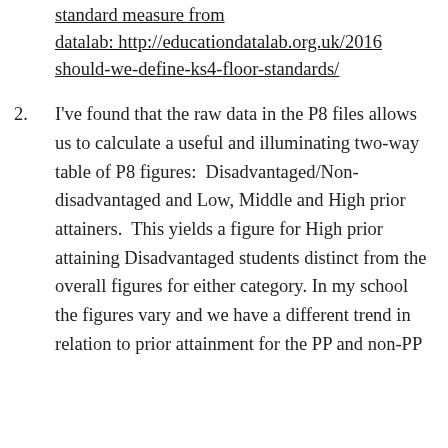standard measure from datalab: http://educationdatalab.org.uk/2016 should-we-define-ks4-floor-standards/
2. I've found that the raw data in the P8 files allows us to calculate a useful and illuminating two-way table of P8 figures: Disadvantaged/Non-disadvantaged and Low, Middle and High prior attainers. This yields a figure for High prior attaining Disadvantaged students distinct from the overall figures for either category. In my school the figures vary and we have a different trend in relation to prior attainment for the PP and non-PP